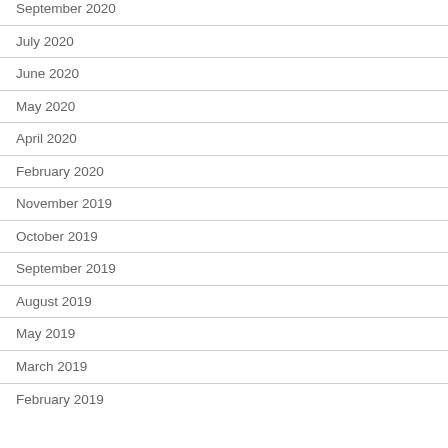September 2020
July 2020
June 2020
May 2020
April 2020
February 2020
November 2019
October 2019
September 2019
August 2019
May 2019
March 2019
February 2019